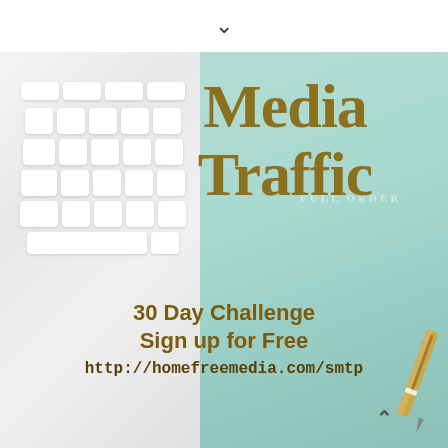[Figure (illustration): Promotional image for Media Traffic 30 Day Challenge. Left half shows a white Apple keyboard on white background. Right half shows a mint green notebook/journal. Overlaid text reads 'Media Traffic' in large dark gold serif font, '30 Day Challenge Sign up for Free' in bold dark gold sans-serif, and 'http://homefreemedia.com/smtp' in monospace. A pen is visible in the bottom right corner.]
Media Traffic
30 Day Challenge
Sign up for Free
http://homefreemedia.com/smtp